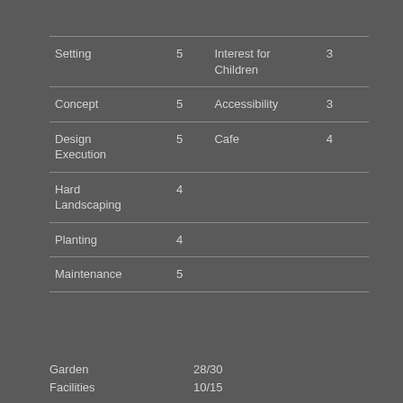|  |  |  |  |
| --- | --- | --- | --- |
| Setting | 5 | Interest for Children | 3 |
| Concept | 5 | Accessibility | 3 |
| Design Execution | 5 | Cafe | 4 |
| Hard Landscaping | 4 |  |  |
| Planting | 4 |  |  |
| Maintenance | 5 |  |  |
Garden    28/30
Facilities    10/15